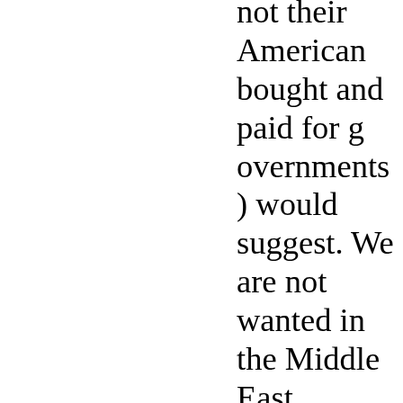not their American bought and paid for governments) would suggest. We are not wanted in the Middle East because we generate unrest under the guise of spreading "democratic values and institutions." So far, this is a failed strategy in North Africa and the Middle East, as our experience over the last 20 years has clearly demonstrated.

So, Daniel, how about a little balance, and add some perspective in "risk" to our republic in light of the fact that IF our "allies and partners" thought they were being threatened, they should rapidly be expanding THEIR military expenditures and increasing THEIR armies. You don't really see it, do you? They voted with their pocketbooks to go to the mall (consumer goods), rather that protect themselves (military go